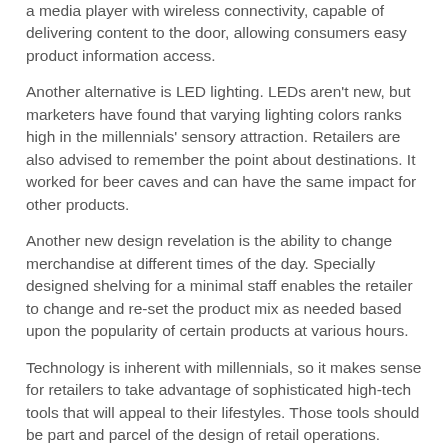a media player with wireless connectivity, capable of delivering content to the door, allowing consumers easy product information access.
Another alternative is LED lighting. LEDs aren't new, but marketers have found that varying lighting colors ranks high in the millennials' sensory attraction. Retailers are also advised to remember the point about destinations. It worked for beer caves and can have the same impact for other products.
Another new design revelation is the ability to change merchandise at different times of the day. Specially designed shelving for a minimal staff enables the retailer to change and re-set the product mix as needed based upon the popularity of certain products at various hours.
Technology is inherent with millennials, so it makes sense for retailers to take advantage of sophisticated high-tech tools that will appeal to their lifestyles. Those tools should be part and parcel of the design of retail operations. Energy-efficient cases, lighting and specialized destinations eliminate clutter and influence consumer behavior during a visit, especially at the point of sale.